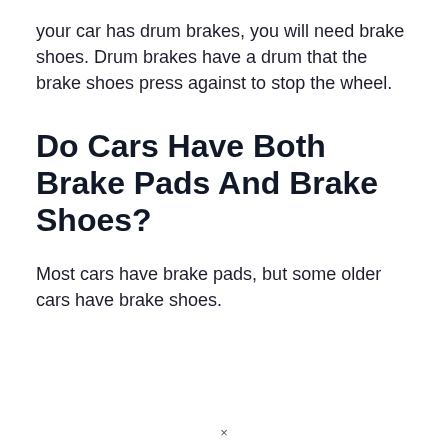your car has drum brakes, you will need brake shoes. Drum brakes have a drum that the brake shoes press against to stop the wheel.
Do Cars Have Both Brake Pads And Brake Shoes?
Most cars have brake pads, but some older cars have brake shoes.